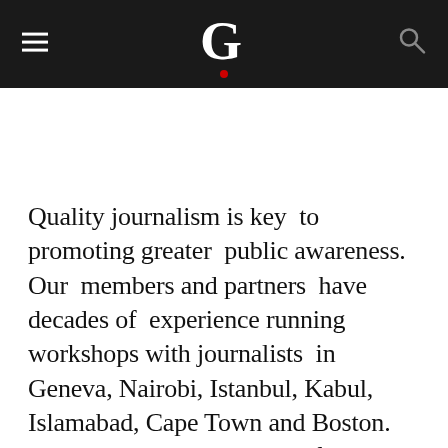G
Quality journalism is key to promoting greater public awareness. Our members and partners have decades of experience running workshops with journalists in Geneva, Nairobi, Istanbul, Kabul, Islamabad, Cape Town and Boston. These 2-4 day workshops often include field trips. They have generally focused on humanitarian issues ranging from disaster response to conflict and post-conflict